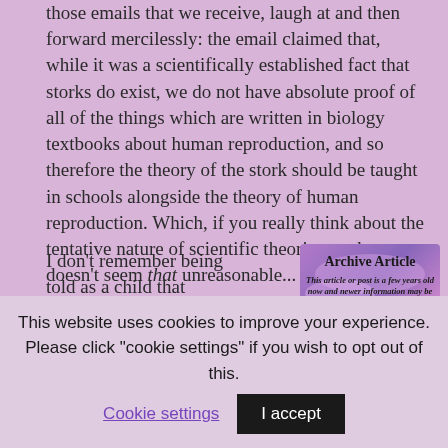those emails that we receive, laugh at and then forward mercilessly: the email claimed that, while it was a scientifically established fact that storks do exist, we do not have absolute proof of all of the things which are written in biology textbooks about human reproduction, and so therefore the theory of the stork should be taught in schools alongside the theory of human reproduction. Which, if you really think about the tentative nature of scientific theories, perhaps doesn't seem that unreasonable...
I don't remember being told as a child that babies were
[Figure (illustration): Archive Article overlay banner with purple/pink sunset background. Title reads 'Archive Article' in bold. Body text reads 'This article or post is a few years old now and newer information may be available. We leave older articles on our site when they are of historical interest, but please check for']
This website uses cookies to improve your experience. Please click "cookie settings" if you wish to opt out of this.
Cookie settings
I accept